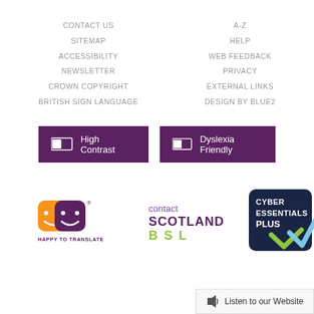CONTACT US
SITEMAP
ACCESSIBILITY
NEWSLETTER
CROWN COPYRIGHT
BRITISH SIGN LANGUAGE
A-Z
HELP
WEB FEEDBACK
PRIVACY
EXTERNAL LINKS
DESIGN BY BLUE2
[Figure (other): High Contrast toggle button (purple background with toggle icon)]
[Figure (other): Dyslexia Friendly toggle button (purple background with toggle icon)]
[Figure (logo): Happy to Translate logo with two smiley face icons in orange and purple]
[Figure (logo): contact SCOTLAND BSL logo in purple and green text]
[Figure (logo): Cyber Essentials Plus badge with dark navy background and checkmark]
Listen to our Website